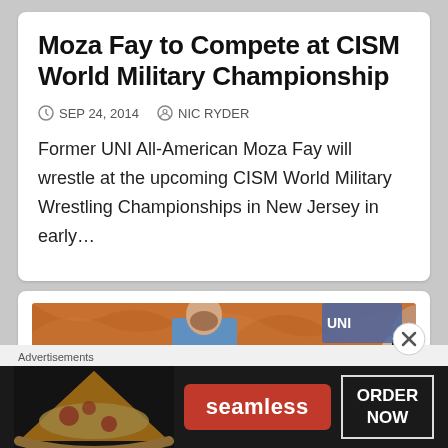Moza Fay to Compete at CISM World Military Championship
SEP 24, 2014   NIC RYDER
Former UNI All-American Moza Fay will wrestle at the upcoming CISM World Military Wrestling Championships in New Jersey in early…
[Figure (photo): Wrestling match photo showing wrestlers and crowd in background with orange backdrop]
Advertisements
[Figure (screenshot): Seamless food delivery advertisement banner with pizza image, Seamless logo in red, and ORDER NOW button]